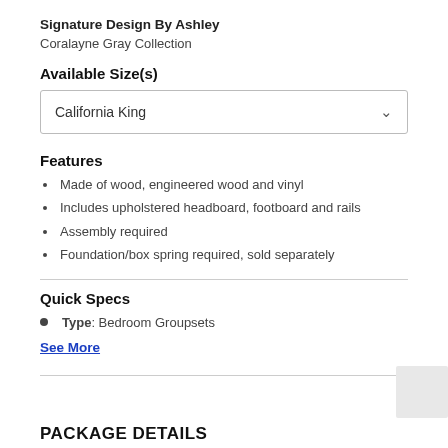Signature Design By Ashley
Coralayne Gray Collection
Available Size(s)
California King
Features
Made of wood, engineered wood and vinyl
Includes upholstered headboard, footboard and rails
Assembly required
Foundation/box spring required, sold separately
Quick Specs
Type: Bedroom Groupsets
See More
PACKAGE DETAILS